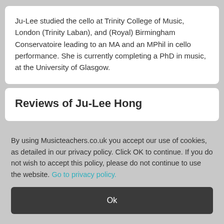Ju-Lee studied the cello at Trinity College of Music, London (Trinity Laban), and (Royal) Birmingham Conservatoire leading to an MA and an MPhil in cello performance. She is currently completing a PhD in music, at the University of Glasgow.
Reviews of Ju-Lee Hong
By using Musicteachers.co.uk you accept our use of cookies, as detailed in our privacy policy. Click OK to continue. If you do not wish to accept this policy, please do not continue to use the website. Go to privacy policy.